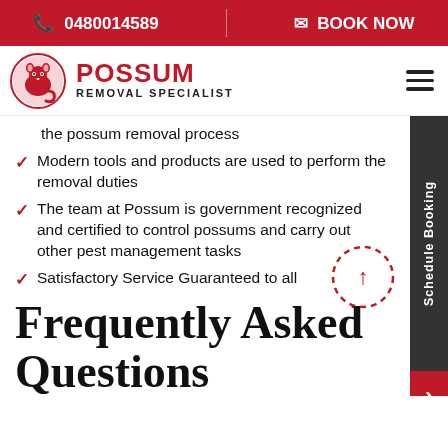📞 0480014589 | ✉ BOOK NOW
[Figure (logo): Possum Removal Specialist logo with possum icon in red circle and red text]
the possum removal process
Modern tools and products are used to perform the removal duties
The team at Possum is government recognized and certified to control possums and carry out other pest management tasks
Satisfactory Service Guaranteed to all
Frequently Asked Questions